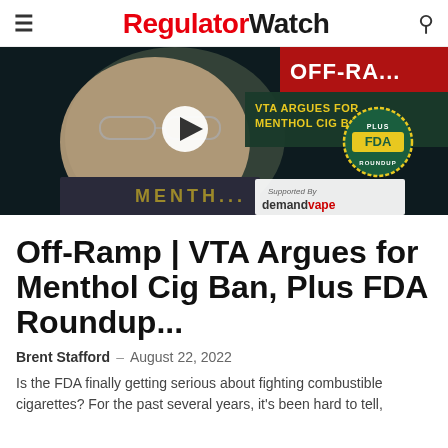RegulatorWatch
[Figure (photo): Video thumbnail showing a man with glasses in front of a dark background with text 'OFF-RAMP VTA ARGUES FOR MENTHOL CIG BAN' and an FDA Roundup badge. A play button is overlaid in the center. Bottom right shows 'Supported By demandvape' branding.]
Off-Ramp | VTA Argues for Menthol Cig Ban, Plus FDA Roundup...
Brent Stafford – August 22, 2022
Is the FDA finally getting serious about fighting combustible cigarettes? For the past several years, it's been hard to tell,